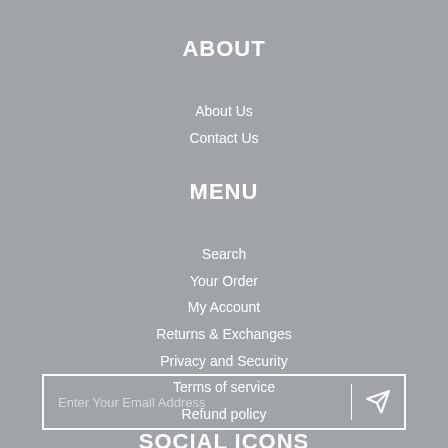ABOUT
About Us
Contact Us
MENU
Search
Your Order
My Account
Returns & Exchanges
Privacy and Security
Terms of service
Refund policy
SOCIAL ICONS
Enter Your Email Address